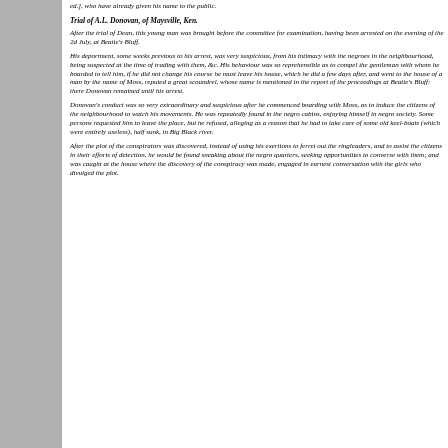ed.], who have already given his name to the public.
Trial of A.L. Donovan, of Maysville, Ken.
After the trial of Dean, this young man was brought before the committee for examination, having been arrested on the evening of the 2d July, at Beatie's Bluff.
His deportment, some weeks previous to his arrest, was very suspicious, from his intimacy with the negroes in the neighbourhood, being suspected at the time of trading with them, &c. His behaviour was so reprehensible as to compel the gentleman with whom he boarded to tell him, if he did not change his course he must leave his house, which he did a few days after, and went to the house of a man by the name of Moss, reputed a great scoundrel, whose name is mentioned in the report of the proceedings at Beatie's Bluff: there Donovan remained until his arrest.
Donovan's conduct was so very extraordinary and suspicious after he commenced boarding with Moss, as to induce the citizens of the neighbourhood to watch his movements. He was repeatedly found in the negro cabins, enjoying himself in negro society. Some persons requested him to leave the place, but he refused, alleging as a reason that he had to take care of some old keel-boats (which were entirely useless), half sunk, in Big Black river.
After the plot of the conspirators was discovered, instead of using his exertions to ferret out the ringleaders, and to assist the citizens in their efforts of detection, he would be found sneaking about the negro quarters, seeking opportunities to converse with them; and was caught at the house where the discovery of the conspiracy was made, engaged in earnest conversation with the girls who divulged the plot.